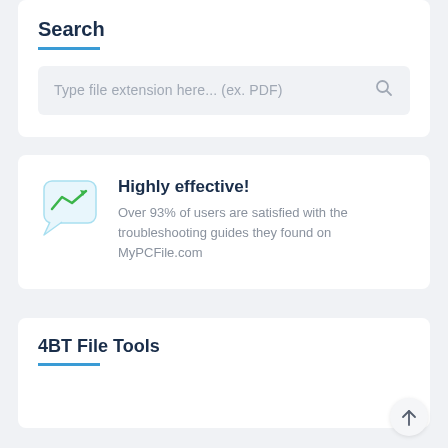Search
Type file extension here... (ex. PDF)
[Figure (infographic): Chat bubble icon with green upward trending arrow, representing effectiveness]
Highly effective! Over 93% of users are satisfied with the troubleshooting guides they found on MyPCFile.com
4BT File Tools